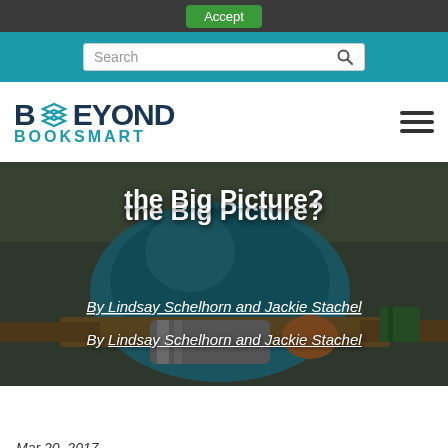Accept
[Figure (screenshot): Search bar on teal background]
[Figure (logo): Beyond Booksmart logo with stacked book icon, teal and dark navy colors, hamburger menu icon on right]
[Figure (photo): Student slumped over desk in classroom, hero image with overlay text]
the Big Picture?
By Lindsay Schelhorn and Jackie Stachel
Mar 20, 2017